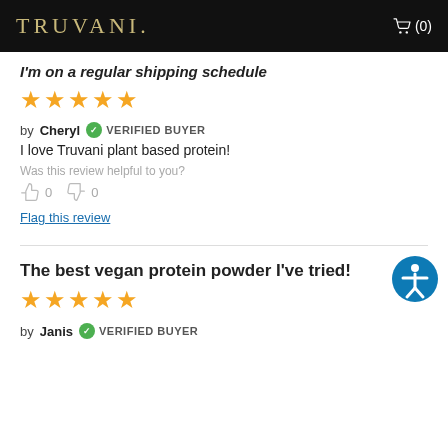TRUVANI. (0)
I'm on a regular shipping schedule
[Figure (other): 5 star rating (orange stars)]
by Cheryl  VERIFIED BUYER
I love Truvani plant based protein!
Was this review helpful to you?
👍 0   👎 0
Flag this review
The best vegan protein powder I've tried!
[Figure (other): 5 star rating (orange stars)]
by Janis  VERIFIED BUYER